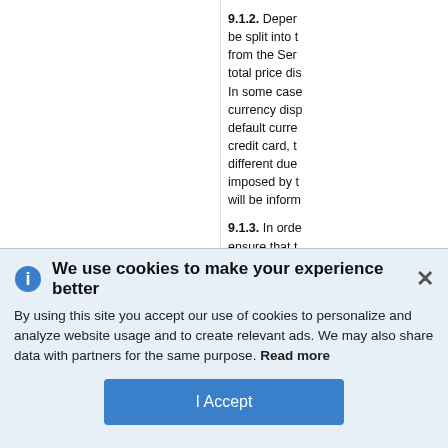9.1.2. Depending on the payment method selected, the payment may be split into two or more amounts which may be collected from the Service Provider at different times. The total price displayed at checkout already includes VAT. In some cases, prices may initially be displayed in a currency different from the traveler's local currency. The default currency displayed is often tied to the traveler's credit card, the Service Provider's location, and may be different due to currency conversions and local taxes imposed by the Service Provider. In such cases, you will be informed about the applicable currency.
9.1.3. In order to make certain reservations, and to ensure that the Service Provider covers potential costs arising related to the reservation, including the processing of the payment through the payment provider(s). S...
We use cookies to make your experience better
By using this site you accept our use of cookies to personalize and analyze website usage and to create relevant ads. We may also share data with partners for the same purpose. Read more